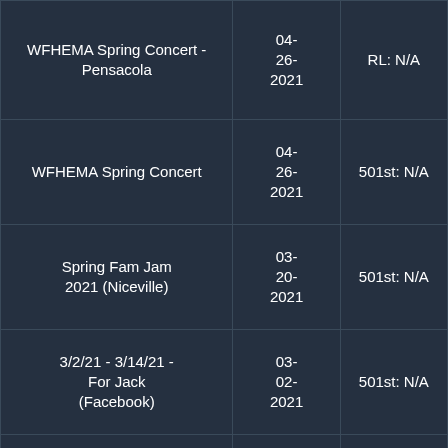| Event | Date | Status |
| --- | --- | --- |
| WFHEMA Spring Concert - Pensacola | 04-26-2021 | RL: N/A |
| WFHEMA Spring Concert | 04-26-2021 | 501st: N/A |
| Spring Fam Jam 2021 (Niceville) | 03-20-2021 | 501st: N/A |
| 3/2/21 - 3/14/21 - For Jack (Facebook) | 03-02-2021 | 501st: N/A |
| AWANA Star Wars Night (FWB) | 02-21-2021 | DUAL: N/A |
| FWB 2020... | 12-... |  |